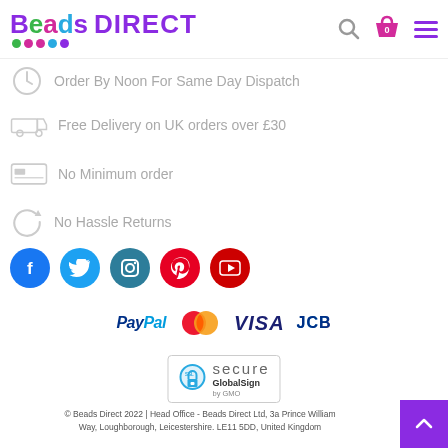[Figure (logo): Beads Direct logo with coloured letters and dots]
Order By Noon For Same Day Dispatch
Free Delivery on UK orders over £30
No Minimum order
No Hassle Returns
[Figure (illustration): Social media icons: Facebook, Twitter, Instagram, Pinterest, YouTube]
[Figure (illustration): Payment logos: PayPal, Mastercard, VISA, JCB]
[Figure (illustration): SSL Secure GlobalSign by GMO badge]
© Beads Direct 2022 | Head Office - Beads Direct Ltd, 3a Prince William Way, Loughborough, Leicestershire. LE11 5DD, United Kingdom